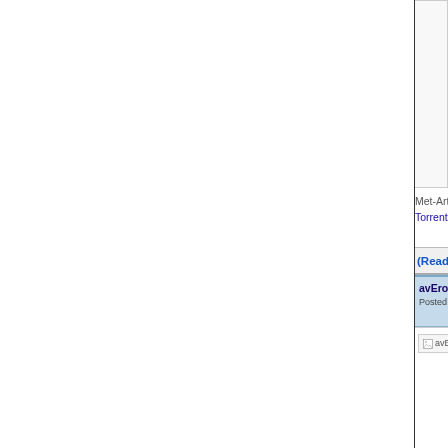[Figure (screenshot): Cropped screenshot of a web page showing two blog/forum posts. Top section has a truncated image placeholder and text links about 'Met-Art - Melisa A & Caprice A - More - HD Video info:' and 'Torrent download Met-Art - Melisa A & Caprice A - More - H...' with a Read More & Down... button. Second post with blue header shows title 'avErotica - Ariel - Zebra' with a green checkmark icon, posted by 'Someone' on 11.04.111, with 'Autodesk AutoCAD' text visible, and a broken image placeholder labeled 'avErotica - Ariel - Zebra'.]